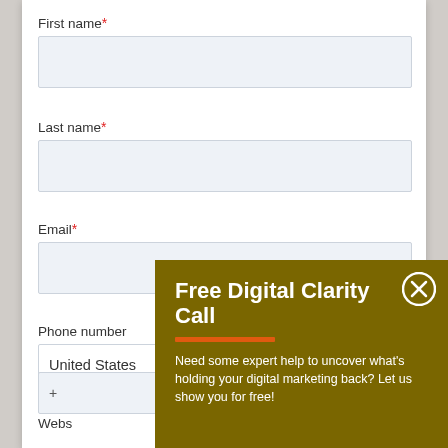First name*
[Figure (screenshot): Empty text input field for First name]
Last name*
[Figure (screenshot): Empty text input field for Last name]
Email*
[Figure (screenshot): Empty text input field for Email]
Phone number
[Figure (screenshot): Dropdown selector showing United States]
[Figure (screenshot): Phone number input field showing +]
Website
Free Digital Clarity Call
Need some expert help to uncover what's holding your digital marketing back? Let us show you for free!